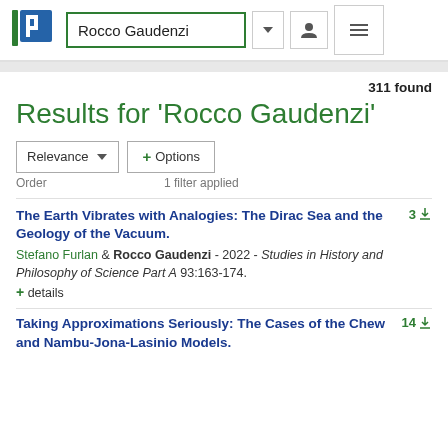Rocco Gaudenzi
311 found
Results for 'Rocco Gaudenzi'
Relevance ▾  + Options
Order   1 filter applied
The Earth Vibrates with Analogies: The Dirac Sea and the Geology of the Vacuum.
Stefano Furlan & Rocco Gaudenzi - 2022 - Studies in History and Philosophy of Science Part A 93:163-174.
+ details
3
Taking Approximations Seriously: The Cases of the Chew and Nambu-Jona-Lasinio Models.
14